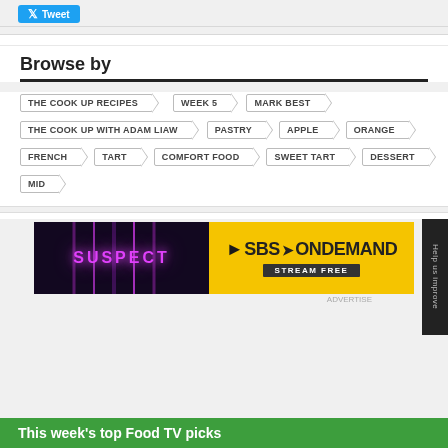[Figure (other): Tweet button (Twitter/X social share button in blue)]
Browse by
THE COOK UP RECIPES
WEEK 5
MARK BEST
THE COOK UP WITH ADAM LIAW
PASTRY
APPLE
ORANGE
FRENCH
TART
COMFORT FOOD
SWEET TART
DESSERT
MID
[Figure (other): SBS On Demand advertisement banner featuring SUSPECT show with purple neon lighting on left and yellow SBS On Demand logo with STREAM FREE text on right]
ADVERTISE
Help us improve
This week's top Food TV picks